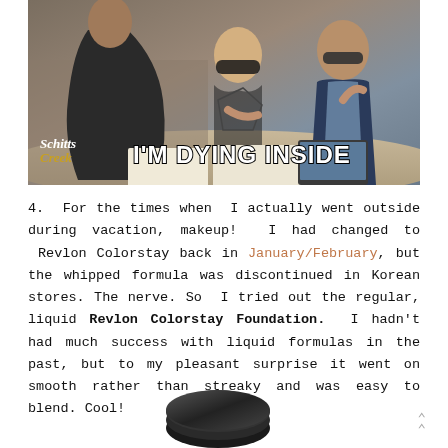[Figure (photo): Screenshot from Schitt's Creek TV show with three people sitting at a table. White bold text overlay reads 'I'M DYING INSIDE'. Schitt's Creek logo in bottom left corner.]
4.  For the times when I actually went outside during vacation, makeup!  I had changed to Revlon Colorstay back in January/February, but the whipped formula was discontinued in Korean stores. The nerve. So I tried out the regular, liquid Revlon Colorstay Foundation. I hadn't had much success with liquid formulas in the past, but to my pleasant surprise it went on smooth rather than streaky and was easy to blend. Cool!
[Figure (photo): Partial view of a dark-colored makeup product (likely Revlon Colorstay Foundation bottle) at the bottom of the page.]